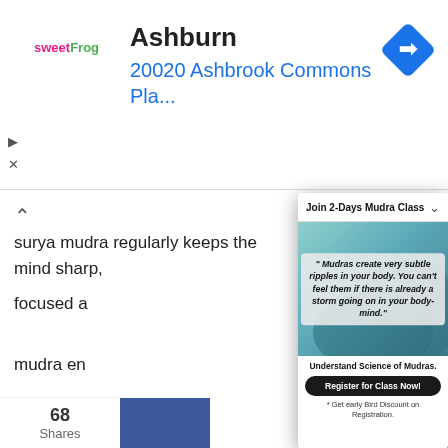[Figure (screenshot): sweetFrog ad banner showing brand logo, 'Ashburn' heading, '20020 Ashbrook Commons Pla...' address in blue, and a blue navigation diamond icon]
surya mudra regularly keeps the mind sharp, focused a... mudra en... our determ... eliminatio... fogginess...
By reducing... also aids in... sleep or ins...
[Figure (screenshot): Popup overlay: 'Join 2-Days Mudra Class' header with chevron. Quote: '" Mudras create very subtle ripples in your body. You can't feel them if there is already a storm going on in your body-mind."' on image background. Below: 'Understand Science of Mudras.' and 'Register for Class Now!' button. '* Get early Bird Discount on Registration.']
68
Shares